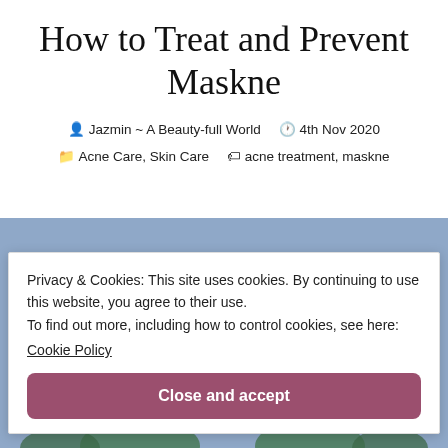How to Treat and Prevent Maskne
Jazmin ~ A Beauty-full World   4th Nov 2020   Acne Care, Skin Care   acne treatment, maskne
[Figure (photo): A blue/periwinkle background image of a person, partially visible, with the top of their head peeking up from the bottom of the hero section. Illustrative/decorative header image for the blog post.]
Privacy & Cookies: This site uses cookies. By continuing to use this website, you agree to their use.
To find out more, including how to control cookies, see here:
Cookie Policy
Close and accept